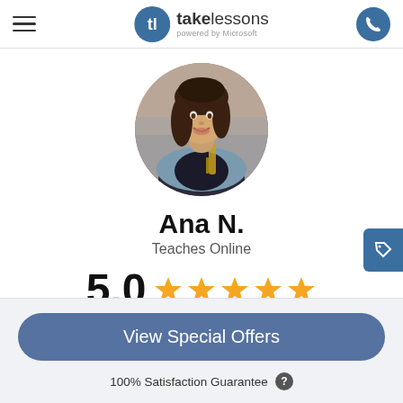[Figure (logo): TakeLessons powered by Microsoft logo with circular blue icon]
[Figure (photo): Circular profile photo of Ana N., a music teacher holding a saxophone/clarinet instrument]
Ana N.
Teaches Online
5.0 ★★★★★
View Special Offers
100% Satisfaction Guarantee ?